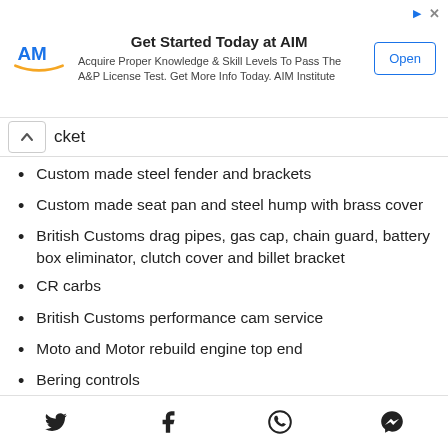[Figure (other): Advertisement banner for AIM Institute. Title: 'Get Started Today at AIM'. Subtitle: 'Acquire Proper Knowledge & Skill Levels To Pass The A&P License Test. Get More Info Today. AIM Institute'. Has AIM logo on left, Open button on right.]
cket
Custom made steel fender and brackets
Custom made seat pan and steel hump with brass cover
British Customs drag pipes, gas cap, chain guard, battery box eliminator, clutch cover and billet bracket
CR carbs
British Customs performance cam service
Moto and Motor rebuild engine top end
Bering controls
Low Brow supplied Knurled grips, Brass tank emblem, Brass exhaust tips and Brass Kustom Tech throttle housing
Social share icons: Twitter, Facebook, WhatsApp, Messenger